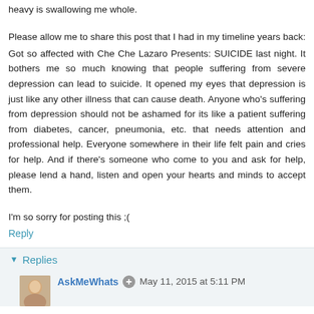heavy is swallowing me whole.
Please allow me to share this post that I had in my timeline years back:
Got so affected with Che Che Lazaro Presents: SUICIDE last night. It bothers me so much knowing that people suffering from severe depression can lead to suicide. It opened my eyes that depression is just like any other illness that can cause death. Anyone who's suffering from depression should not be ashamed for its like a patient suffering from diabetes, cancer, pneumonia, etc. that needs attention and professional help. Everyone somewhere in their life felt pain and cries for help. And if there's someone who come to you and ask for help, please lend a hand, listen and open your hearts and minds to accept them.
I'm so sorry for posting this ;(
Reply
Replies
AskMeWhats  May 11, 2015 at 5:11 PM